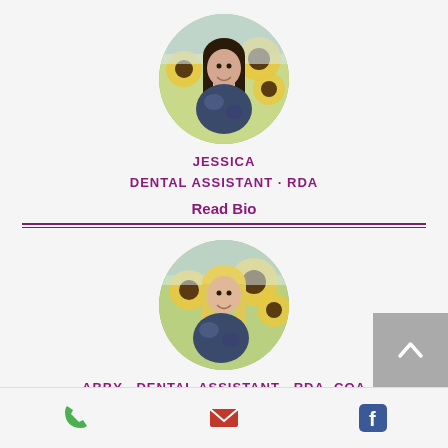[Figure (photo): Circular portrait photo of Jessica, a dental assistant, standing in a sunflower field wearing a tie-dye shirt]
JESSICA
DENTAL ASSISTANT · RDA
Read Bio
[Figure (photo): Circular portrait photo of Abby, a dental assistant, standing in a sunflower field wearing a tie-dye shirt]
ABBY · DENTAL ASSISTANT · RDA, COA
Read Bio
Phone | Email | Facebook